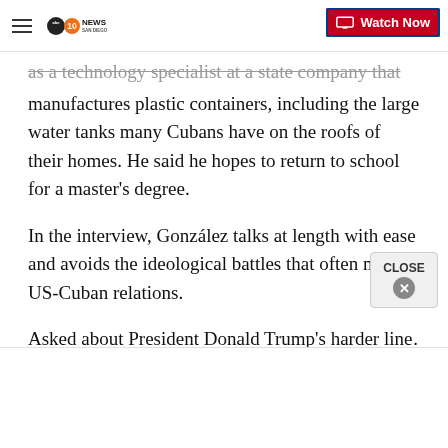10 News San Diego — Watch Now
as a technology specialist at a state company that manufactures plastic containers, including the large water tanks many Cubans have on the roofs of their homes. He said he hopes to return to school for a master's degree.
In the interview, González talks at length with ease and avoids the ideological battles that often mark US-Cuban relations.
Asked about President Donald Trump's harder line…